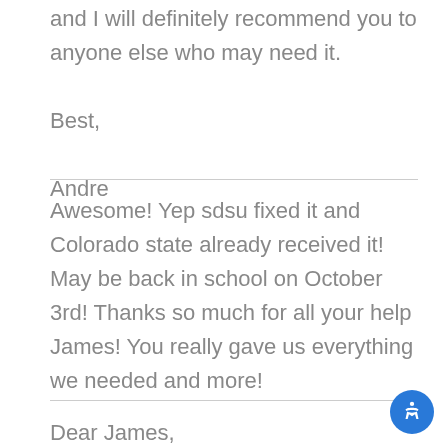and I will definitely recommend you to anyone else who may need it.
Best,
Andre
Awesome! Yep sdsu fixed it and Colorado state already received it! May be back in school on October 3rd! Thanks so much for all your help James! You really gave us everything we needed and more!
Dear James,